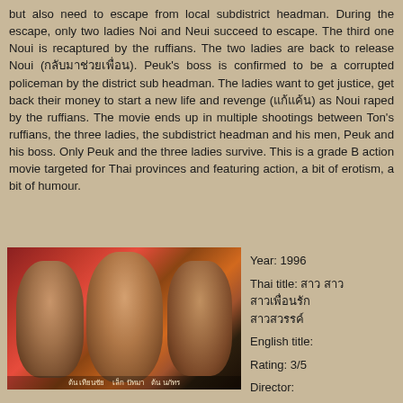but also need to escape from local subdistrict headman. During the escape, only two ladies Noi and Neui succeed to escape. The third one Noui is recaptured by the ruffians. The two ladies are back to release Noui (กลับมาช่วยเพื่อน). Peuk's boss is confirmed to be a corrupted policeman by the district sub headman. The ladies want to get justice, get back their money to start a new life and revenge (แก้แค้น) as Noui raped by the ruffians. The movie ends up in multiple shootings between Ton's ruffians, the three ladies, the subdistrict headman and his men, Peuk and his boss. Only Peuk and the three ladies survive. This is a grade B action movie targeted for Thai provinces and featuring action, a bit of erotism, a bit of humour.
[Figure (photo): Movie poster showing three young Thai actors - two males and one female in the center, with a red/dramatic background. Subtitles in Thai at the bottom.]
Year: 1996
Thai title: สาว สาว สาวเพื่อนรัก สาวสวรรค์
English title:
Rating: 3/5
Director: